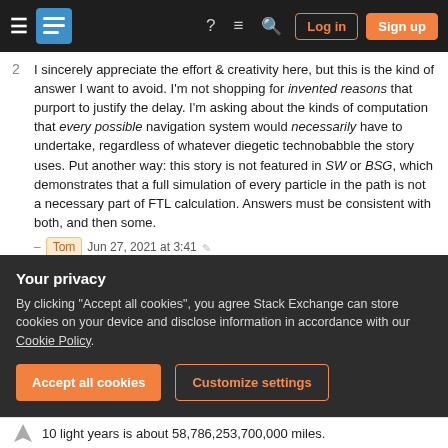Stack Exchange navigation bar with hamburger menu, logo, help, chat, search icons, Log in and Sign up buttons
2  I sincerely appreciate the effort & creativity here, but this is the kind of answer I want to avoid. I'm not shopping for invented reasons that purport to justify the delay. I'm asking about the kinds of computation that every possible navigation system would necessarily have to undertake, regardless of whatever diegetic technobabble the story uses. Put another way: this story is not featured in SW or BSG, which demonstrates that a full simulation of every particle in the path is not a necessary part of FTL calculation. Answers must be consistent with both, and then some. – Tom Jun 27, 2021 at 3:41
1  Fell off my ball laughing at the "Damn Shatner"
Your privacy
By clicking "Accept all cookies", you agree Stack Exchange can store cookies on your device and disclose information in accordance with our Cookie Policy.
Accept all cookies   Customize settings
10 light years is about 58,786,253,700,000 miles.